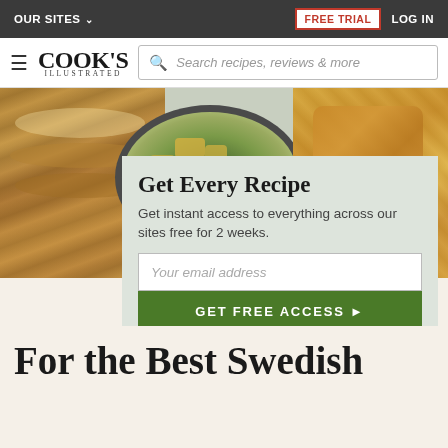OUR SITES  FREE TRIAL  LOG IN
[Figure (screenshot): Cook's Illustrated website header with logo, hamburger menu, and search bar]
[Figure (photo): Food photography showing sliced chicken, a bowl of green salad, and a fried food item on light blue background]
Get Every Recipe
Get instant access to everything across our sites free for 2 weeks.
Your email address
GET FREE ACCESS ▶
How we use your email address
For the Best Swedish